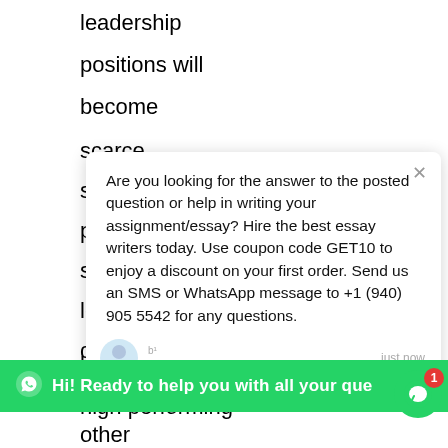leadership
positions will
become
scarce
success
planni
strong
leader
develo
progra
cause a
lose valuable,
high performing
other
[Figure (screenshot): Chat popup overlay with message: Are you looking for the answer to the posted question or help in writing your assignment/essay? Hire the best essay writers today. Use coupon code GET10 to enjoy a discount on your first order. Send us an SMS or WhatsApp message to +1 (940) 905 5542 for any questions. Customer Support agent shown with 'just now' timestamp.]
Hi! Ready to help you with all your que